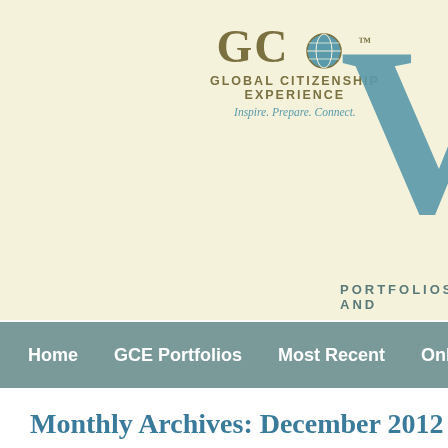[Figure (logo): GCE Global Citizenship Experience logo with globe icon, tagline: Inspire. Prepare. Connect. And partially visible VC logo with PORTFOLIOS AND text]
Home | GCE Portfolios | Most Recent | Online
Monthly Archives: December 2012
Common App College Essay
December 20, 2012 at 4:27 pm, by AT
For my Art of Rhetoric's third action project, I had to write up an e... chose a prompt from the Common App. I think that the reason my main purpose Read More…
Comments Off
Categories: Writing